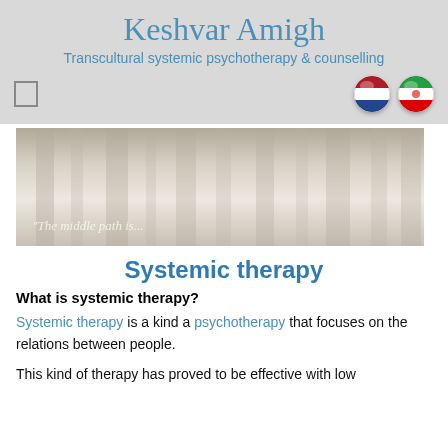Keshvar Amigh
Transcultural systemic psychotherapy & counselling
[Figure (illustration): Navigation bar with menu icon on left and two circular flag icons (Netherlands and Iran) on right, on grey background]
[Figure (photo): Hero image showing soft muted forest or curtain-like background with italic text overlay reading 'The middle path is...']
Systemic therapy
What is systemic therapy?
Systemic therapy is a kind a psychotherapy that focuses on the relations between people.
This kind of therapy has proved to be effective with low